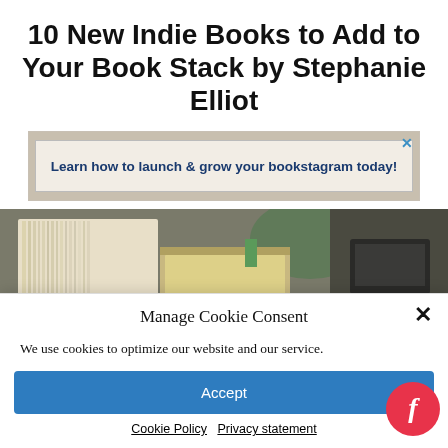10 New Indie Books to Add to Your Book Stack by Stephanie Elliot
[Figure (infographic): Advertisement banner with decorative background: 'Learn how to launch & grow your bookstagram today!']
[Figure (photo): Close-up photo of stacked books with blurred background showing book spines and pages]
Manage Cookie Consent
We use cookies to optimize our website and our service.
Accept
Cookie Policy   Privacy statement